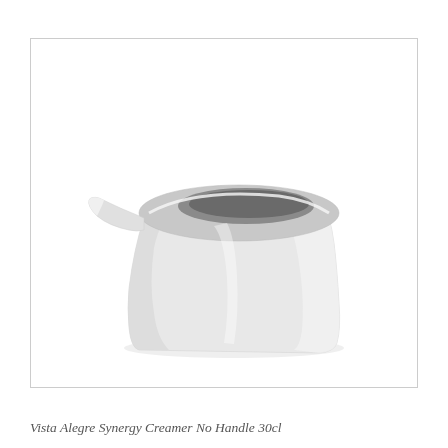[Figure (photo): White ceramic creamer jug without handle, Vista Alegre Synergy 30cl, photographed on white background. The creamer is cylindrical with a wide pour spout on the left side and an oval opening at the top.]
Vista Alegre Synergy Creamer No Handle 30cl